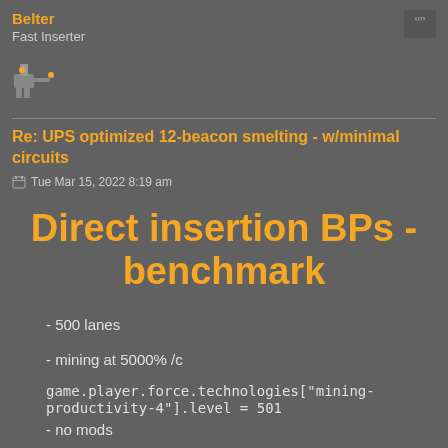Belter
Fast Inserter
Re: UPS optimized 12-beacon smelting - w/minimal circuits
Tue Mar 15, 2022 8:19 am
Direct insertion BPs - benchmark
- 500 lanes
- mining at 5000% /c
game.player.force.technologies["mining-productivity-4"].level = 501
- no mods
- saves attached
DaveMcW v7